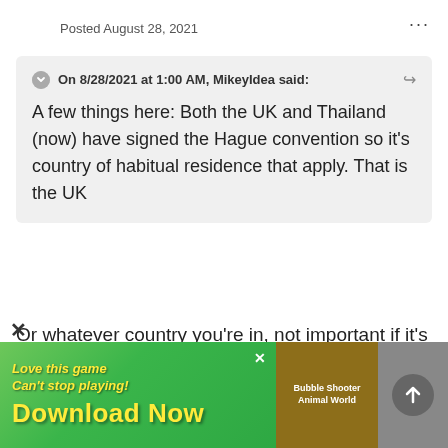Posted August 28, 2021
On 8/28/2021 at 1:00 AM, MikeyIdea said:
A few things here: Both the UK and Thailand (now) have signed the Hague convention so it's country of habitual residence that apply. That is the UK
Or whatever country you're in, not important if it's a western country, they have all signed the Hague convention.  Don't know why I thought
[Figure (screenshot): Mobile game advertisement banner: 'Love this game Can't stop playing! Download Now' with Bubble Shooter Animal World badge]